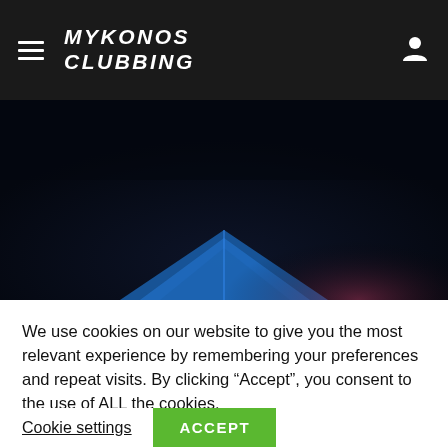MYKONOS CLUBBING
[Figure (photo): Dark nightclub scene with blue geometric roof structure visible at the bottom, dark navy/black background suggesting nighttime outdoor venue]
We use cookies on our website to give you the most relevant experience by remembering your preferences and repeat visits. By clicking “Accept”, you consent to the use of ALL the cookies.
Cookie settings   ACCEPT